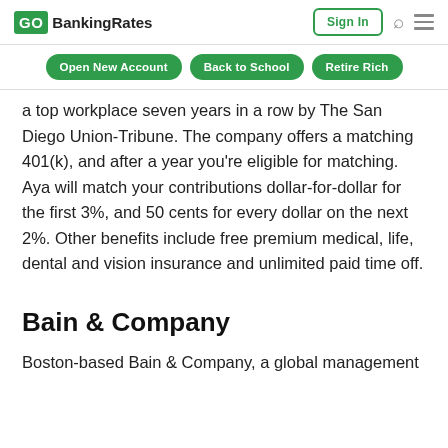GOBankingRates | Sign In
Open New Account  Back to School  Retire Rich
a top workplace seven years in a row by The San Diego Union-Tribune. The company offers a matching 401(k), and after a year you're eligible for matching. Aya will match your contributions dollar-for-dollar for the first 3%, and 50 cents for every dollar on the next 2%. Other benefits include free premium medical, life, dental and vision insurance and unlimited paid time off.
Bain & Company
Boston-based Bain & Company, a global management